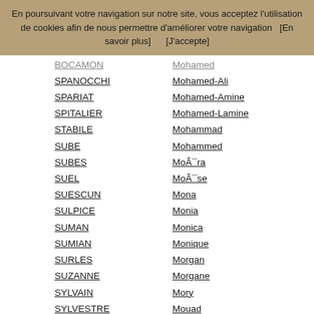En poursuivant votre navigation sur notre site, vous acceptez l'utilisation de cookies afin de nous permettre d'améliorer votre navigation   [En savoir plus]       [J'accepte]
BOCAMON / Mohamed
SPANOCCHI / Mohamed-Ali
SPARIAT / Mohamed-Amine
SPITALIER / Mohamed-Lamine
STABILE / Mohammad
SUBE / Mohammed
SUBES / MoÃ¯ra
SUEL / MoÃ¯se
SUESCUN / Mona
SULPICE / Monia
SUMAN / Monica
SUMIAN / Monique
SURLES / Morgan
SUZANNE / Morgane
SYLVAIN / Mory
SYLVESTRE / Mouad
TABOT / Mouctar
TAILLAND / Mouhamadou
TAIX / Mouhamed
TALON / Mouhammad
TARDIEU / Moulay
TARDIF / Mourad